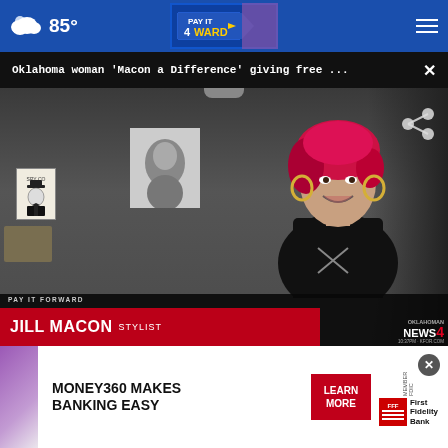85°
Oklahoma woman 'Macon a Difference' giving free ...
[Figure (screenshot): News broadcast screenshot showing Jill Macon, a stylist with red hair and hoop earrings, smiling in what appears to be a salon. Lower third graphic reads 'JILL MACON STYLIST' with Oklahoman News 4 branding.]
[Figure (photo): Advertisement banner for Money360 and First Fidelity Bank with partial photo visible at top.]
MONEY360 MAKES BANKING EASY
LEARN MORE